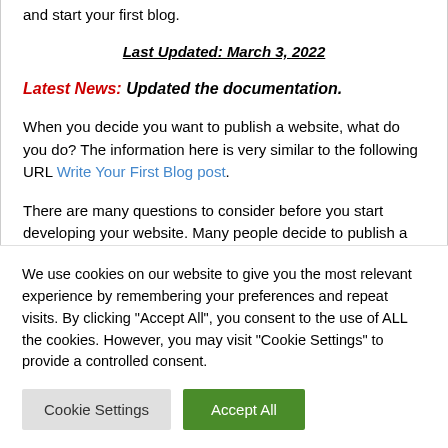and start your first blog.
Last Updated: March 3, 2022
Latest News: Updated the documentation.
When you decide you want to publish a website, what do you do? The information here is very similar to the following URL Write Your First Blog post.
There are many questions to consider before you start developing your website. Many people decide to publish a
We use cookies on our website to give you the most relevant experience by remembering your preferences and repeat visits. By clicking "Accept All", you consent to the use of ALL the cookies. However, you may visit "Cookie Settings" to provide a controlled consent.